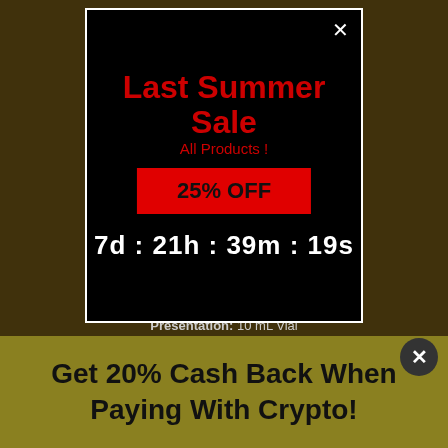[Figure (screenshot): Popup modal on a darkened e-commerce page background showing a Last Summer Sale promotion]
Last Summer Sale
All Products !
25% OFF
7d : 21h : 39m : 19s
Presentation: 10 mL Vial
Manufacturer: Balkan Pharmaceuticals
Get 20% Cash Back When Paying With Crypto!